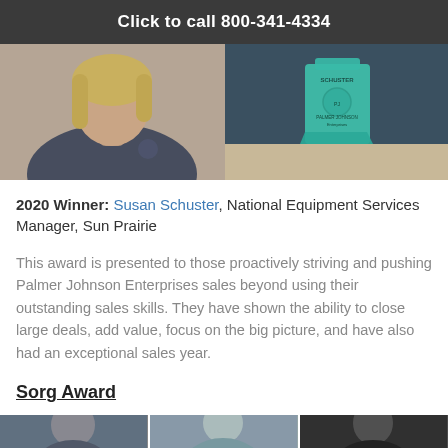Click to call 800-341-4334
[Figure (photo): Left: Woman in navy blue polo shirt with Palmer Johnson logo. Right: Glass crystal award trophy with 'Schuster' text on it, sitting on a table.]
2020 Winner: Susan Schuster, National Equipment Services Manager, Sun Prairie
This award is presented to those proactively striving and pushing Palmer Johnson Enterprises sales beyond using their outstanding sales skills. They have shown the ability to close large deals, add value, focus on the big picture, and have also had an exceptional sales year.
Sorg Award
[Figure (photo): Three people partially visible in a row of photos at the bottom of the page.]